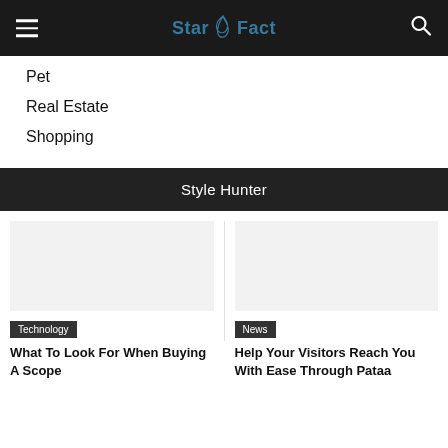StarSFact
Pet
Real Estate
Shopping
Style Hunter
[Figure (screenshot): Article card image placeholder for Technology article (blank/white)]
Technology
What To Look For When Buying A Scope
[Figure (screenshot): Article card image placeholder for News article (blank/white)]
News
Help Your Visitors Reach You With Ease Through Pataa